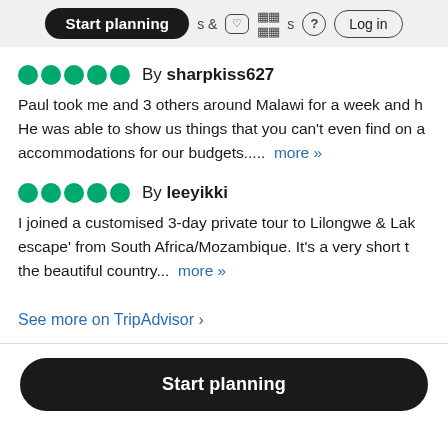Start planning  & activities  ?  Log in
By sharpkiss627
Paul took me and 3 others around Malawi for a week and h... He was able to show us things that you can't even find on a... accommodations for our budgets.....  more »
By leeyikki
I joined a customised 3-day private tour to Lilongwe & Lak... escape' from South Africa/Mozambique. It's a very short t... the beautiful country...  more »
See more on TripAdvisor ›
Start planning